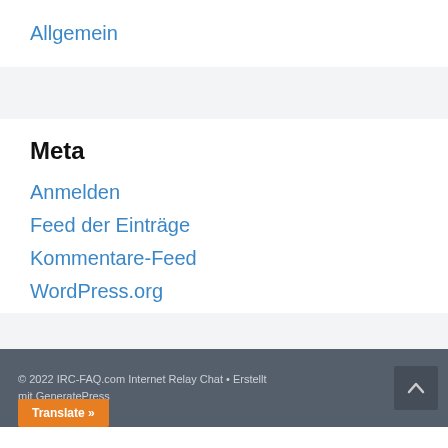Allgemein
Meta
Anmelden
Feed der Einträge
Kommentare-Feed
WordPress.org
© 2022 IRC-FAQ.com Internet Relay Chat • Erstellt mit GeneratePress
Translate »